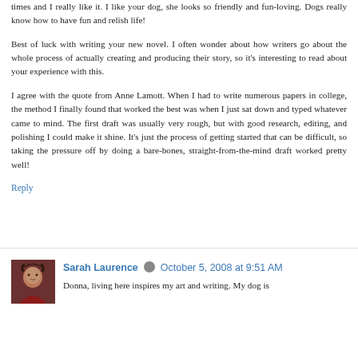times and I really like it. I like your dog, she looks so friendly and fun-loving. Dogs really know how to have fun and relish life!

Best of luck with writing your new novel. I often wonder about how writers go about the whole process of actually creating and producing their story, so it's interesting to read about your experience with this.

I agree with the quote from Anne Lamott. When I had to write numerous papers in college, the method I finally found that worked the best was when I just sat down and typed whatever came to mind. The first draft was usually very rough, but with good research, editing, and polishing I could make it shine. It's just the process of getting started that can be difficult, so taking the pressure off by doing a bare-bones, straight-from-the-mind draft worked pretty well!
Reply
Sarah Laurence · October 5, 2008 at 9:51 AM
Donna, living here inspires my art and writing. My dog is